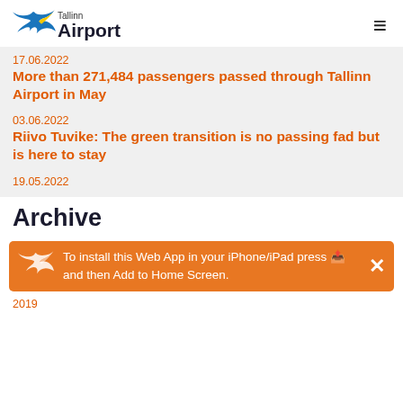Tallinn Airport
17.06.2022
More than 271,484 passengers passed through Tallinn Airport in May
03.06.2022
Riivo Tuvike: The green transition is no passing fad but is here to stay
19.05.2022
Archive
To install this Web App in your iPhone/iPad press  and then Add to Home Screen.
2019